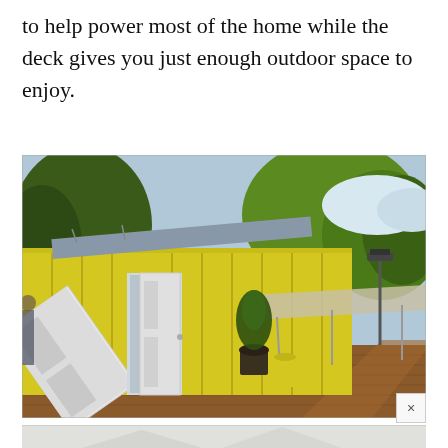to help power most of the home while the deck gives you just enough outdoor space to enjoy.
[Figure (photo): Yellow shipping container home converted into a modern dwelling with white double doors open, solar panels on roof, wooden deck, canvas shade structure, potted plants, and lush green trees in background.]
[Figure (photo): Partially visible second photo at bottom of page showing a faint architectural or landscape image.]